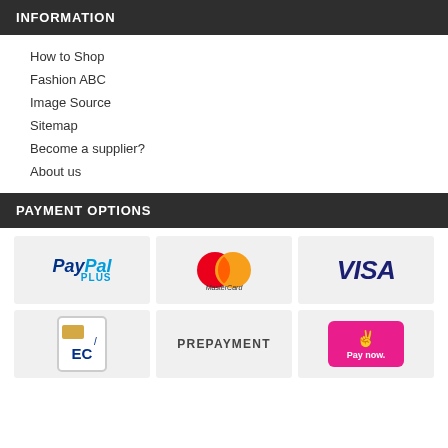INFORMATION
How to Shop
Fashion ABC
Image Source
Sitemap
Become a supplier?
About us
PAYMENT OPTIONS
[Figure (logo): PayPal Plus logo]
[Figure (logo): MasterCard logo]
[Figure (logo): VISA logo]
[Figure (logo): EC card logo]
[Figure (logo): PREPAYMENT text logo]
[Figure (logo): Pay now logo (pink/klarna style)]